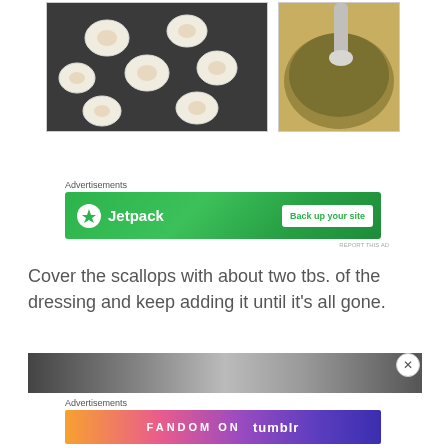[Figure (photo): Top-down view of raw scallops on a dark baking tray]
[Figure (photo): Close-up of a spoon stirring a dark green/olive dressing or sauce in a white bowl]
Advertisements
[Figure (other): Jetpack advertisement banner with green background and 'Back up your site' button]
REPORT THIS AD
Cover the scallops with about two tbs. of the dressing and keep adding it until it's all gone.
[Figure (photo): Partial bottom image strip showing food preparation]
Advertisements
[Figure (other): FANDOM ON tumblr advertisement banner with colorful gradient background]